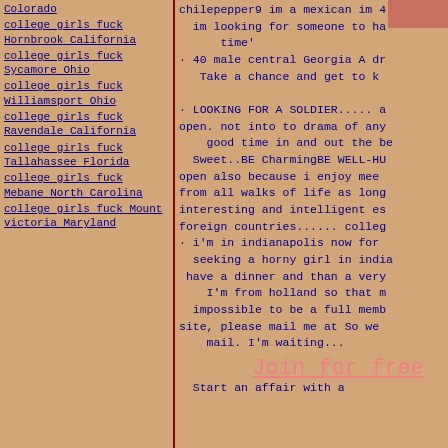college girls fuck Hornbrook California
college girls fuck Sycamore Ohio
college girls fuck Williamsport Ohio
college girls fuck Ravendale California
college girls fuck Tallahassee Florida
college girls fuck Mebane North Carolina
college girls fuck Mount victoria Maryland
chilepepper9 im a mexican im 4
  im looking for someone to ha
    time'
· 40 male central Georgia A dr
   Take a chance and get to k
· LOOKING FOR A SOLDIER..... a
open. not into to drama of any
    good time in and out the be
  Sweet..BE CharmingBE WELL-HU
open also because i enjoy mee
from all walks of life as long
interesting and intelligent es
foreign countries...... colleg
· i'm in indianapolis now for
  seeking a horny girl in india
 have a dinner and than a very
    I'm from holland so that m
  impossible to be a full memb
site, please mail me at So we
    mail. I'm waiting...
Join for free
Start an affair with a